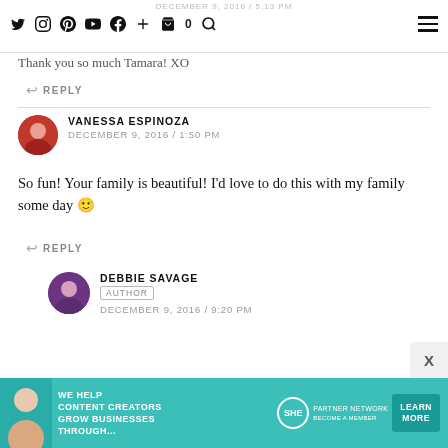DECEMBER 9, 2016 / 5:13 PM | navigation icons
Thank you so much Tamara! XO
↩ REPLY
VANESSA ESPINOZA
DECEMBER 9, 2016 / 1:50 PM
So fun! Your family is beautiful! I'd love to do this with my family some day 🙂
↩ REPLY
DEBBIE SAVAGE
AUTHOR
DECEMBER 9, 2016 / 9:20 PM
[Figure (infographic): Teal advertisement banner: WE HELP CONTENT CREATORS GROW BUSINESSES THROUGH... with SHE Partner Network logo and LEARN MORE button]